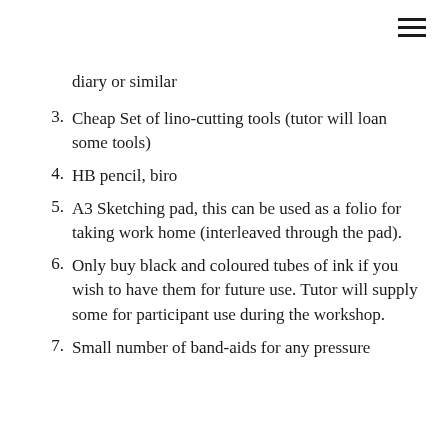diary or similar
3.  Cheap Set of lino-cutting tools (tutor will loan some tools)
4.  HB pencil, biro
5.  A3 Sketching pad, this can be used as a folio for taking work home (interleaved through the pad).
6.  Only buy black and coloured tubes of ink if you wish to have them for future use. Tutor will supply some for participant use during the workshop.
7.  Small number of band-aids for any pressure